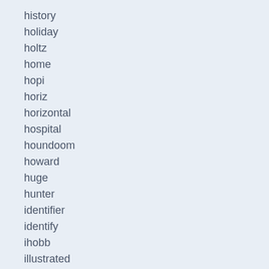history
holiday
holtz
home
hopi
horiz
horizontal
hospital
houndoom
howard
huge
hunter
identifier
identify
ihobb
illustrated